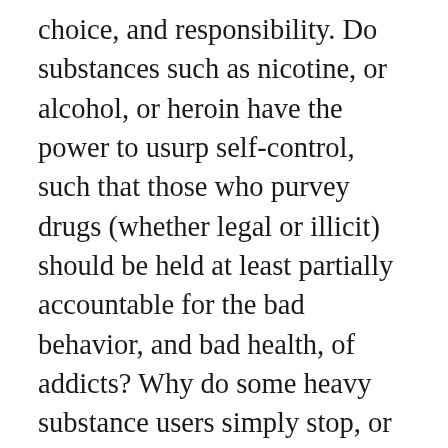choice, and responsibility. Do substances such as nicotine, or alcohol, or heroin have the power to usurp self-control, such that those who purvey drugs (whether legal or illicit) should be held at least partially accountable for the bad behavior, and bad health, of addicts? Why do some heavy substance users simply stop, or outgrow their habit, while others find it impossible to extricate themselves from addiction? If I end up an alcoholic, even though I'm knowledgeable about the risk of imperceptibly increasing dependence, is this only my doing? Should we regard